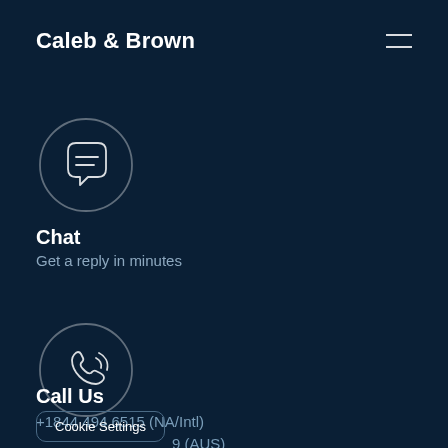Caleb & Brown
[Figure (illustration): Chat bubble icon inside a circle, white outline on dark navy background]
Chat
Get a reply in minutes
[Figure (illustration): Phone/call icon inside a circle, white outline on dark navy background]
Call Us
+1844 494 6515 (NA/Intl)
-9 (AUS)
Cookie Settings